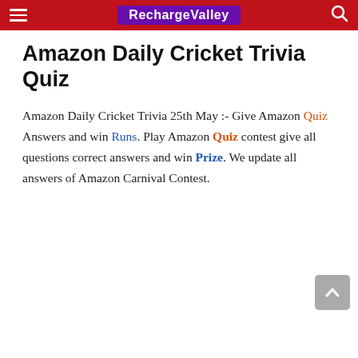RechargeValley
Amazon Daily Cricket Trivia Quiz
Amazon Daily Cricket Trivia 25th May :- Give Amazon Quiz Answers and win Runs. Play Amazon Quiz contest give all questions correct answers and win Prize. We update all answers of Amazon Carnival Contest.